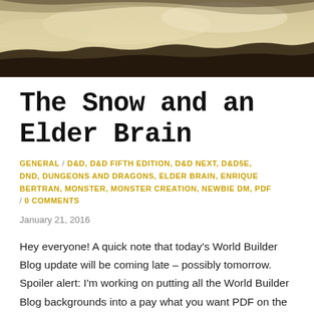[Figure (photo): Sepia-toned sky with clouds and dark silhouetted landmass or treetops at the bottom, used as a decorative header image]
The Snow and an Elder Brain
GENERAL / D&D, D&D FIFTH EDITION, D&D NEXT, D&D5E, DND, DUNGEONS AND DRAGONS, ELDER BRAIN, ENRIQUE BERTRAN, MONSTER, MONSTER CREATION, NEWBIE DM, PDF / 0 COMMENTS
January 21, 2016
Hey everyone! A quick note that today's World Builder Blog update will be coming late – possibly tomorrow. Spoiler alert: I'm working on putting all the World Builder Blog backgrounds into a pay what you want PDF on the DMs Guild. I would have had it ready to go